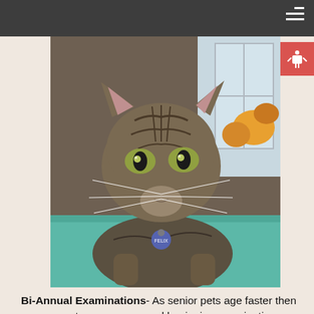[Figure (photo): Close-up photo of a tabby cat with green eyes, wearing a blue collar tag, sitting on a teal examination table at a veterinary clinic. A window with foliage is visible in the background.]
Bi-Annual Examinations- As senior pets age faster then younger pets, we recommend beginning examinations every 6 months beginning at 7 years of